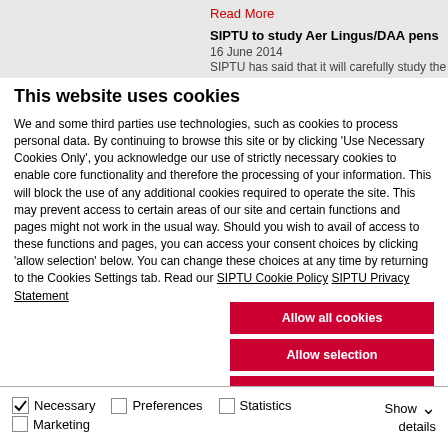Read More
SIPTU to study Aer Lingus/DAA pens
16 June 2014
SIPTU has said that it will carefully study the
This website uses cookies
We and some third parties use technologies, such as cookies to process personal data. By continuing to browse this site or by clicking 'Use Necessary Cookies Only', you acknowledge our use of strictly necessary cookies to enable core functionality and therefore the processing of your information. This will block the use of any additional cookies required to operate the site. This may prevent access to certain areas of our site and certain functions and pages might not work in the usual way. Should you wish to avail of access to these functions and pages, you can access your consent choices by clicking 'allow selection' below. You can change these choices at any time by returning to the Cookies Settings tab. Read our SIPTU Cookie Policy SIPTU Privacy Statement
Allow all cookies
Allow selection
Use necessary cookies only
Necessary  Preferences  Statistics  Marketing  Show details